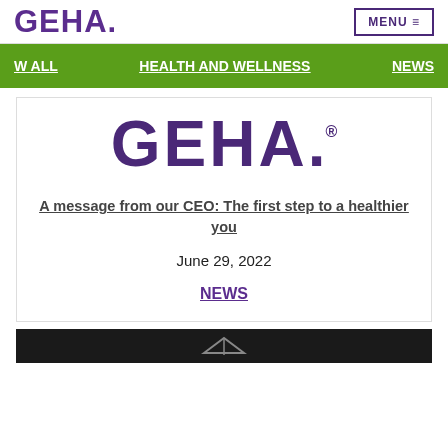GEHA.
[Figure (logo): GEHA logo in purple with dot, top left header]
[Figure (logo): MENU button with hamburger icon, top right]
W ALL   HEALTH AND WELLNESS   NEWS
[Figure (logo): Large GEHA. logo in purple inside content card]
A message from our CEO: The first step to a healthier you
June 29, 2022
NEWS